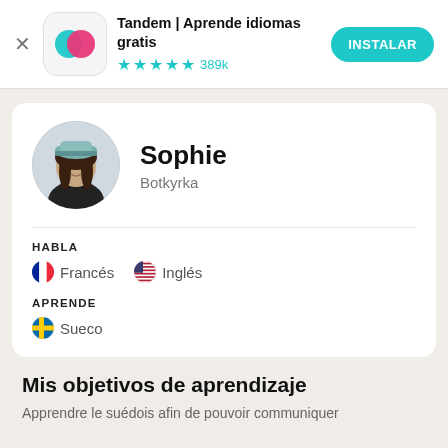[Figure (screenshot): Tandem app banner with icon, name, star rating and install button]
Tandem | Aprende idiomas gratis
★★★★½ 389k
[Figure (photo): Profile photo of Sophie, a young woman wearing a winter hat outdoors]
Sophie
Botkyrka
HABLA
🇫🇷 Francés
🇺🇸 Inglés
APRENDE
🇸🇪 Sueco
Mis objetivos de aprendizaje
Apprendre le suédois afin de pouvoir communiquer